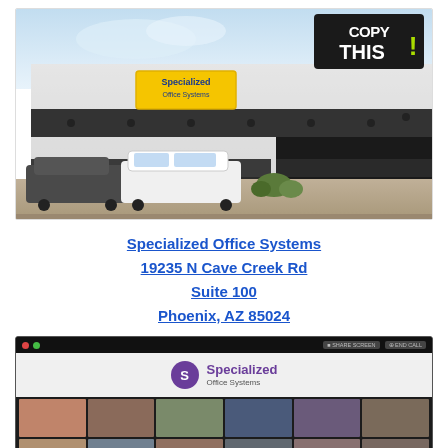[Figure (photo): Exterior photo of a commercial retail strip building with 'Copy This!' signage on the right and a Specialized Office Systems yellow sign on the facade. Dark awning stripe runs along the front. White and dark SUVs parked in the foreground, shrubs in the parking lot.]
Specialized Office Systems
19235 N Cave Creek Rd
Suite 100
Phoenix, AZ 85024
[Figure (screenshot): Screenshot of a video conferencing call showing the Specialized Office Systems logo at the top and a grid of participant video thumbnails below showing approximately 12 people.]